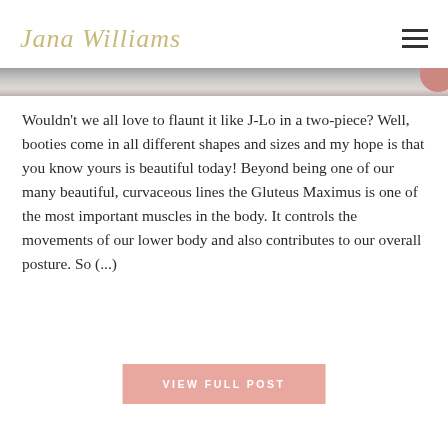Jana Williams
[Figure (photo): Thin horizontal hero image strip, gray tones with a pink/rose circular element at the right edge]
Wouldn't we all love to flaunt it like J-Lo in a two-piece? Well, booties come in all different shapes and sizes and my hope is that you know yours is beautiful today! Beyond being one of our many beautiful, curvaceous lines the Gluteus Maximus is one of the most important muscles in the body. It controls the movements of our lower body and also contributes to our overall posture. So (...)
VIEW FULL POST